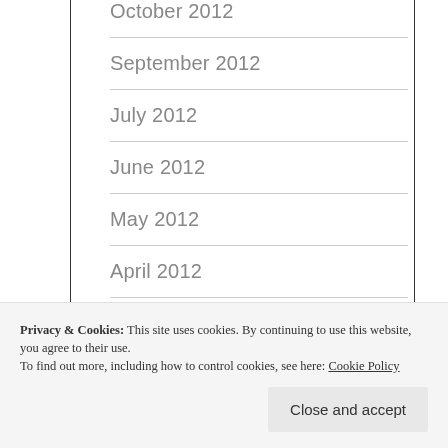October 2012
September 2012
July 2012
June 2012
May 2012
April 2012
March 2012
February 2012
Privacy & Cookies: This site uses cookies. By continuing to use this website, you agree to their use.
To find out more, including how to control cookies, see here: Cookie Policy
April 2011